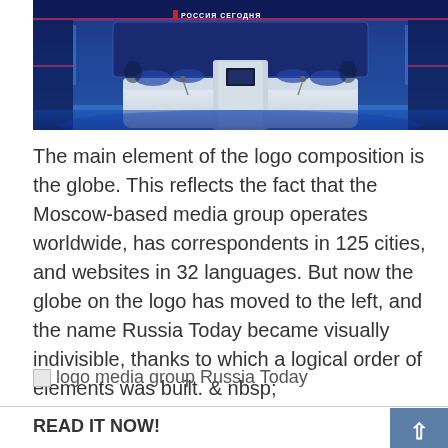[Figure (photo): Interior of a television studio with blue lighting, curved white desk, and a sign reading РОССИЯ СЕГОДНЯ (Russia Today) in the background]
The main element of the logo composition is the globe. This reflects the fact that the Moscow-based media group operates worldwide, has correspondents in 125 cities, and websites in 32 languages. But now the globe on the logo has moved to the left, and the name Russia Today became visually indivisible, thanks to which a logical order of elements was built. & nbsp;
[Figure (photo): logo media group Russia Today (broken image)]
READ IT NOW!